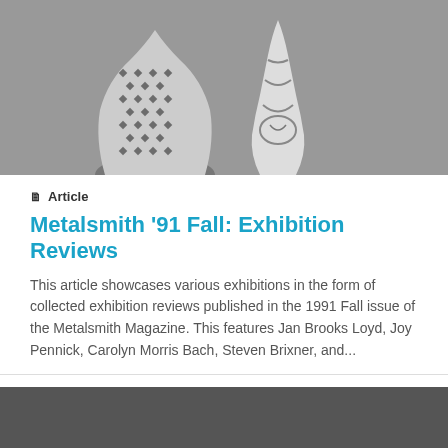[Figure (photo): Black and white photograph showing two decorative vase-like objects with textured surfaces, one with a diamond/scale pattern and another with a smoother carved design.]
Article
Metalsmith '91 Fall: Exhibition Reviews
This article showcases various exhibitions in the form of collected exhibition reviews published in the 1991 Fall issue of the Metalsmith Magazine. This features Jan Brooks Loyd, Joy Pennick, Carolyn Morris Bach, Steven Brixner, and...
[Figure (photo): Dark gray/charcoal colored image, appears to be a partially visible photograph with very dark tones.]